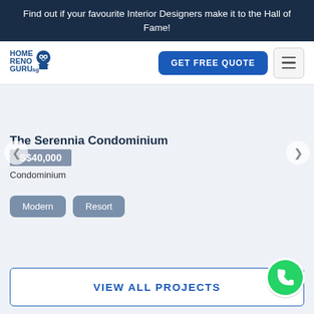Find out if your favourite Interior Designers make it to the Hall of Fame!
[Figure (logo): HomeRenoGuru.sg logo with owl icon]
GET FREE QUOTE
The Serennia Condominium
S$40,000
Condominium
Modern
Resort
VIEW ALL PROJECTS